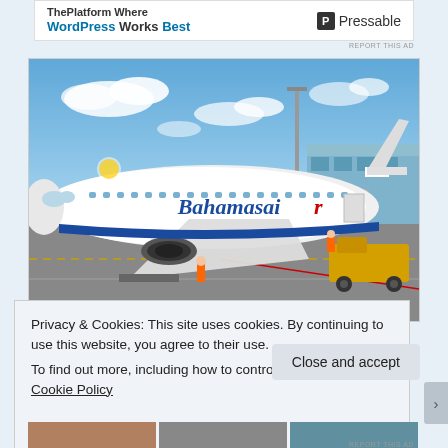[Figure (logo): Advertisement banner: 'The Platform Where WordPress Works Best' with Pressable logo]
[Figure (photo): A Bahamasair Boeing 737 aircraft parked at an airport gate. Ground crew visible near the aircraft. Blue sky with clouds in background. Airport terminal building visible on right side.]
Privacy & Cookies: This site uses cookies. By continuing to use this website, you agree to their use.
To find out more, including how to control cookies, see here: Cookie Policy
Close and accept